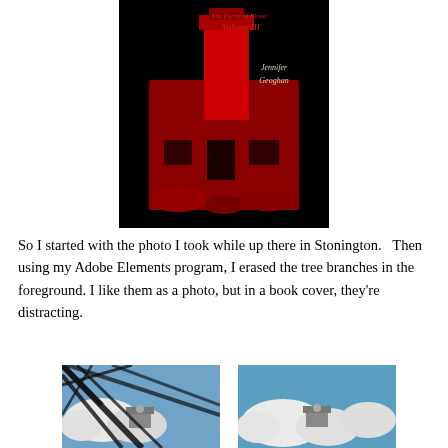[Figure (illustration): Book cover for 'The Purity of Blood Volume III' by Jennifer Geoghan. Black background with red-tinted image of a stone building/lighthouse. Red script text shows the title and author name.]
So I started with the photo I took while up there in Stonington.   Then using my Adobe Elements program, I erased the tree branches in the foreground. I like them as a photo, but in a book cover, they’re distracting.
[Figure (photo): Photo of a lighthouse top visible through tree branches against a blue sky with clouds — original photo with tree branches in foreground.]
[Figure (photo): Same lighthouse photo with tree branches removed using Adobe Elements — showing blue sky and clouds without foreground branches.]